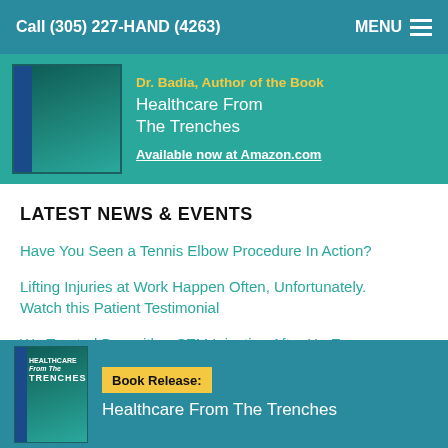Call (305) 227-HAND (4263)   MENU
[Figure (illustration): Book promotion banner: Dr. Badia, Author of the Book — Healthcare From The Trenches — Available now at Amazon.com, with book cover image on teal background]
LATEST NEWS & EVENTS
Have You Seen a Tennis Elbow Procedure In Action?
Lifting Injuries at Work Happen Often, Unfortunately. Watch this Patient Testimonial
We Treated Ben with a CTM Injection After He Experienced Pain when Pitching During Baseball Practice
[Figure (illustration): Bottom popup banner with book cover image and text: Book Release: Healthcare From The Trenches, on teal background]